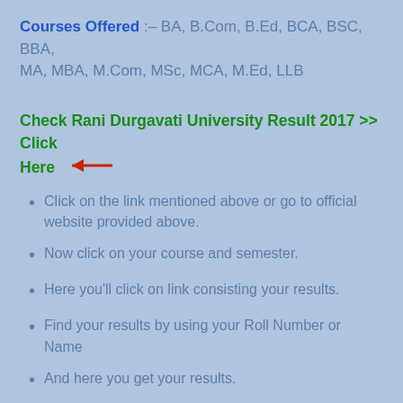Courses Offered :– BA, B.Com, B.Ed, BCA, BSC, BBA, MA, MBA, M.Com, MSc, MCA, M.Ed, LLB
Check Rani Durgavati University Result 2017 >> Click Here ←
Click on the link mentioned above or go to official website provided above.
Now click on your course and semester.
Here you'll click on link consisting your results.
Find your results by using your Roll Number or Name
And here you get your results.
Note: Candidates are advised to take print of their e-